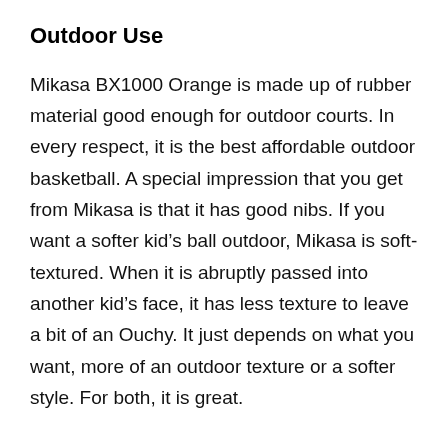Outdoor Use
Mikasa BX1000 Orange is made up of rubber material good enough for outdoor courts. In every respect, it is the best affordable outdoor basketball. A special impression that you get from Mikasa is that it has good nibs. If you want a softer kid's ball outdoor, Mikasa is soft-textured. When it is abruptly passed into another kid's face, it has less texture to leave a bit of an Ouchy. It just depends on what you want, more of an outdoor texture or a softer style. For both, it is great.